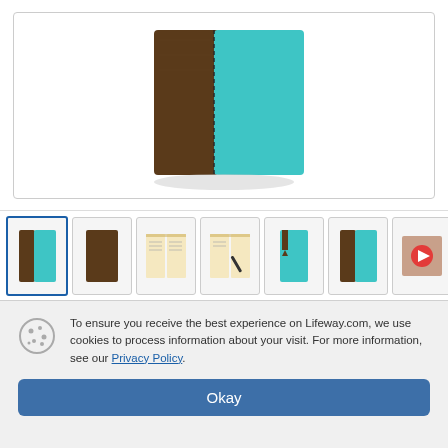[Figure (photo): Main product image area showing a two-tone brown and teal/turquoise Bible cover]
[Figure (photo): Row of 7 product thumbnail images: front cover (selected), back cover, open Bible pages, open Bible with pen, cover with bookmark, teal front cover, video thumbnail with play button]
Personalization available! Click Add to Cart to get started. Learn More
To ensure you receive the best experience on Lifeway.com, we use cookies to process information about your visit. For more information, see our Privacy Policy.
Okay